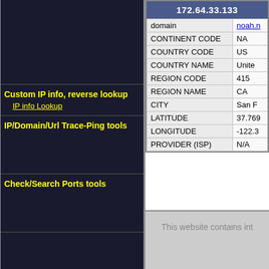Custom IP info, reverse lookup
IP info Lookup
IP/Domain/Url Trace-Ping tools
Check/Search Ports tools
172.64.33.133
|  |  |
| --- | --- |
| domain | noah.n... |
| CONTINENT CODE | NA |
| COUNTRY CODE | US |
| COUNTRY NAME | United... |
| REGION CODE | 415 |
| REGION NAME | CA |
| CITY | San F... |
| LATITUDE | 37.769... |
| LONGITUDE | -122.3... |
| PROVIDER (ISP) | N/A |
This website contains int...